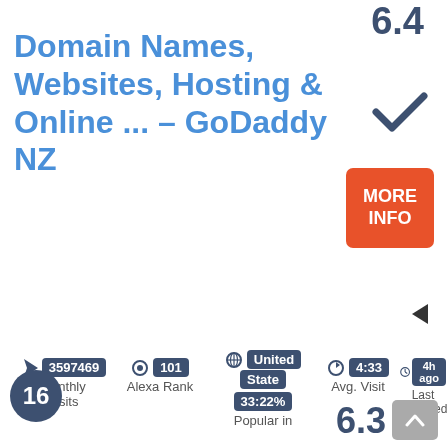6.4
Domain Names, Websites, Hosting & Online ... – GoDaddy NZ
[Figure (infographic): Checkmark icon]
[Figure (infographic): MORE INFO orange button]
[Figure (infographic): Left arrow triangle icon]
3597469 Monthly Visits
101 Alexa Rank
United State 33:22% Popular in
4:33 Avg. Visit
4h ago Last Checked
16
6.3